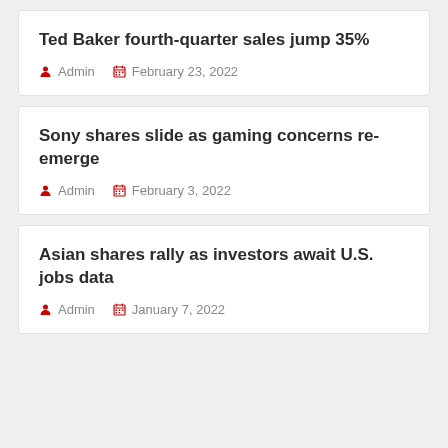Ted Baker fourth-quarter sales jump 35%
Admin  February 23, 2022
Sony shares slide as gaming concerns re-emerge
Admin  February 3, 2022
Asian shares rally as investors await U.S. jobs data
Admin  January 7, 2022